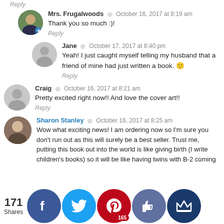Reply
Mrs. Frugalwoods  October 16, 2017 at 8:19 am
Thank you so much :)!
Reply
Jane  October 17, 2017 at 8:40 pm
Yeah! I just caught myself telling my husband that a friend of mine had just written a book. 🙂
Reply
Craig  October 16, 2017 at 8:21 am
Pretty excited right now!! And love the cover art!!
Reply
Sharon Stanley  October 16, 2017 at 8:25 am
Wow what exciting news! I am ordering now so I'm sure you don't run out as this will surely be a best seller. Trust me, putting this book out into the world is like giving birth (I write children's books) so it will be like having twins with B-2 coming...
[Figure (infographic): Social sharing bar with 171 Shares count and Facebook, Twitter, Pinterest (165), thumbs-up, and crown social share buttons]